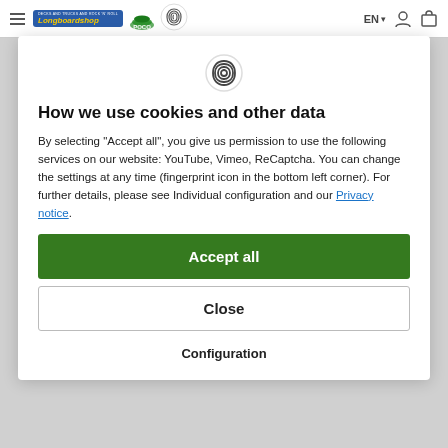Longboardshop | Poco | EN | user | cart
[Figure (logo): Fingerprint icon at top of cookie consent modal]
How we use cookies and other data
By selecting "Accept all", you give us permission to use the following services on our website: YouTube, Vimeo, ReCaptcha. You can change the settings at any time (fingerprint icon in the bottom left corner). For further details, please see Individual configuration and our Privacy notice.
Accept all
Close
Configuration